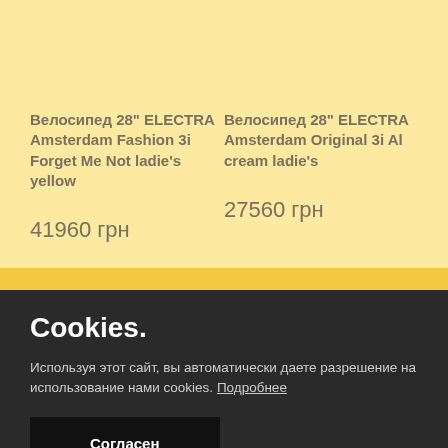Велосипед 28" ELECTRA Amsterdam Fashion 3i Forget Me Not ladie's yellow
41960 грн
Велосипед 28" ELECTRA Amsterdam Original 3i Al cream ladie's
27560 грн
Cookies.
Используя этот сайт, вы автоматически даете разрешение на использование нами cookies. Подробнее
Согласен